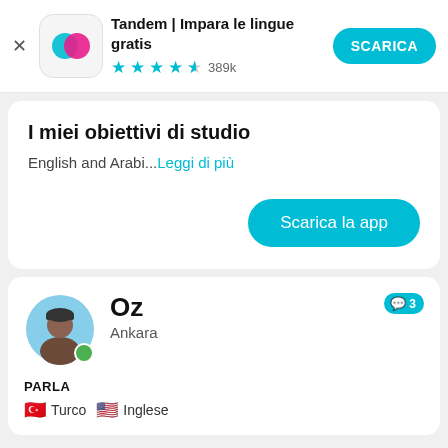[Figure (screenshot): Tandem app banner with logo icon, star rating 389k, and SCARICA button]
I miei obiettivi di studio
English and Arabi...Leggi di più
Scarica la app
[Figure (photo): Profile photo of Oz from Ankara with online indicator and message badge showing 3]
Oz
Ankara
PARLA
Turco  Inglese